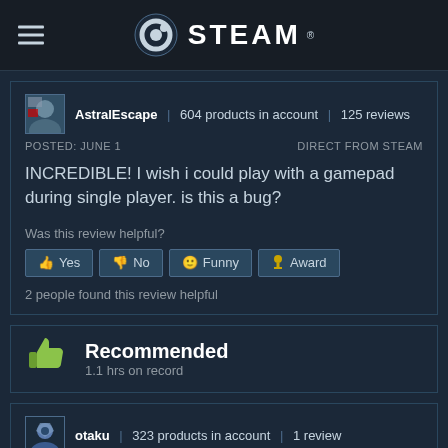STEAM
AstralEscape | 604 products in account | 125 reviews
POSTED: JUNE 1    DIRECT FROM STEAM
INCREDIBLE! I wish i could play with a gamepad during single player. is this a bug?
Was this review helpful?
Yes  No  Funny  Award
2 people found this review helpful
Recommended
1.1 hrs on record
otaku | 323 products in account | 1 review
POSTED: JUNE 1    DIRECT FROM STEAM